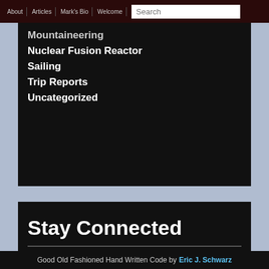About | Articles | Mark's Bio | Welcome | Search
Mountaineering
Nuclear Fusion Reactor
Sailing
Trip Reports
Uncategorized
Stay Connected
Register
Log in
Entries RSS
Comments RSS
Good Old Fashioned Hand Written Code by Eric J. Schwarz